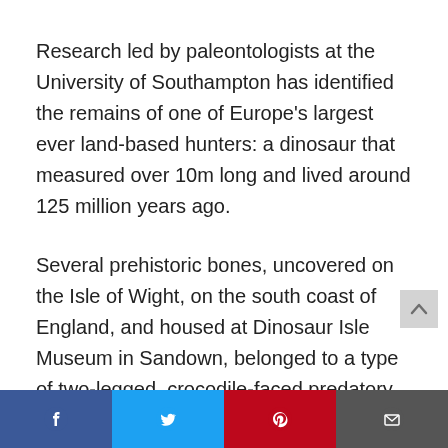Research led by paleontologists at the University of Southampton has identified the remains of one of Europe's largest ever land-based hunters: a dinosaur that measured over 10m long and lived around 125 million years ago.
Several prehistoric bones, uncovered on the Isle of Wight, on the south coast of England, and housed at Dinosaur Isle Museum in Sandown, belonged to a type of two-legged, crocodile-faced predatory dinosaur known as spinosaurids. Dubbed the 'White Rock spinosaurid' – after the geological layer in which it was found – it was a predator of impressive
[Figure (other): Social sharing bar with Facebook, Twitter, Pinterest, and email icons at the bottom of the page]